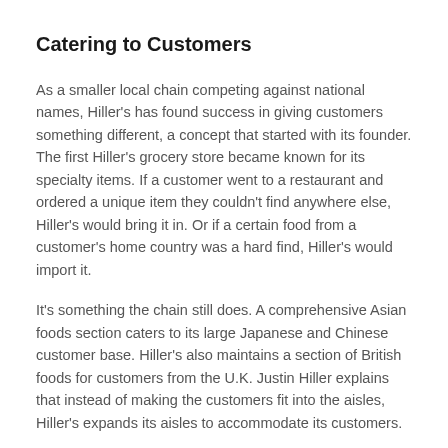Catering to Customers
As a smaller local chain competing against national names, Hiller's has found success in giving customers something different, a concept that started with its founder. The first Hiller's grocery store became known for its specialty items. If a customer went to a restaurant and ordered a unique item they couldn't find anywhere else, Hiller's would bring it in. Or if a certain food from a customer's home country was a hard find, Hiller's would import it.
It's something the chain still does. A comprehensive Asian foods section caters to its large Japanese and Chinese customer base. Hiller's also maintains a section of British foods for customers from the U.K. Justin Hiller explains that instead of making the customers fit into the aisles, Hiller's expands its aisles to accommodate its customers.
“One of the reasons people come to Hiller’s is because we cater to lifestyles,” Justin Hiller explains. “We do a very good job of making the customer’s shopping experience easier. We tag the stores really well and ID items that are low-salt, made in Michigan, natural,